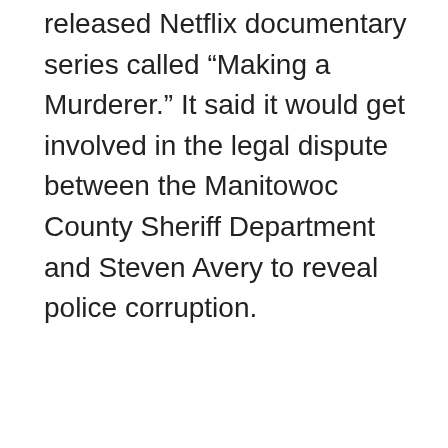released Netflix documentary series called “Making a Murderer.” It said it would get involved in the legal dispute between the Manitowoc County Sheriff Department and Steven Avery to reveal police corruption.